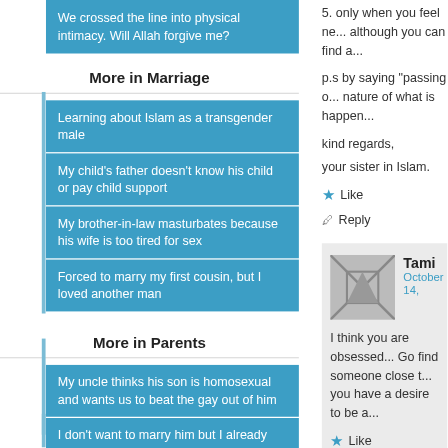We crossed the line into physical intimacy. Will Allah forgive me?
More in Marriage
Learning about Islam as a transgender male
My child’s father doesn’t know his child or pay child support
My brother-in-law masturbates because his wife is too tired for sex
Forced to marry my first cousin, but I loved another man
More in Parents
My uncle thinks his son is homosexual and wants us to beat the gay out of him
I don’t want to marry him but I already said “yes!”
Father uses physical violence, so we reported him to law enforcement.
I daydream about being a Tik-Tok celebrity but my mom won’t have it.
More in Qadr
If Allah has already written a bad fate for me, why should I even pray?
5. only when you feel ne... although you can find a...
p.s by saying "passing o... nature of what is happen...
kind regards,
your sister in Islam.
Like
Reply
Tami
October 14,
I think you are obsessed... Go find someone close t... you have a desire to be a...
Like